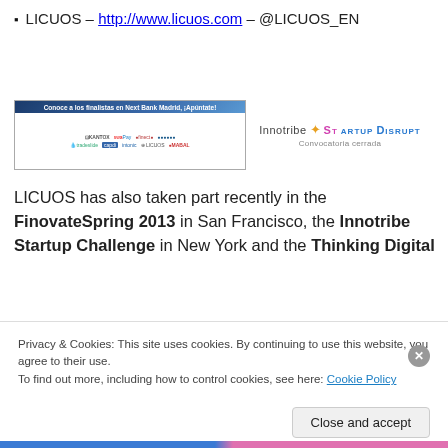LICUOS – http://www.licuos.com – @LICUOS_EN
[Figure (screenshot): Banner showing Next Bank Madrid finalist logos including KANTOX, swaPay, tradeslide, Capdi, Intonic, LICUOS, MABAL; beside it is the Innotribe Startup Disrupt logo with text 'Convocatoria cerrada']
LICUOS has also taken part recently in the FinovateSpring 2013 in San Francisco, the Innotribe Startup Challenge in New York and the Thinking Digital
Privacy & Cookies: This site uses cookies. By continuing to use this website, you agree to their use.
To find out more, including how to control cookies, see here: Cookie Policy